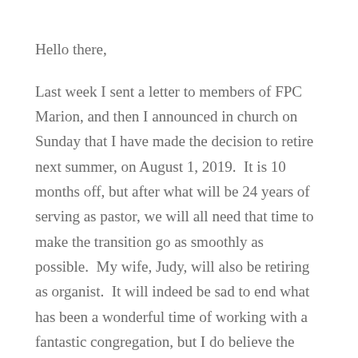Hello there,
Last week I sent a letter to members of FPC Marion, and then I announced in church on Sunday that I have made the decision to retire next summer, on August 1, 2019.  It is 10 months off, but after what will be 24 years of serving as pastor, we will all need that time to make the transition go as smoothly as possible.  My wife, Judy, will also be retiring as organist.  It will indeed be sad to end what has been a wonderful time of working with a fantastic congregation, but I do believe the time is right and God will continue to work among us all.
In the meantime, there is much that is going on and